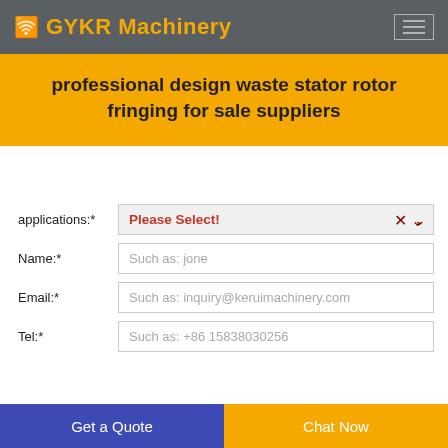GYKR Machinery
professional design waste stator rotor fringing for sale suppliers
applications:* Please Select!
Name:* Such as: jone
Email:* Such as: inquiry@keruimachinery.com
Tel:* Such as: +86 15838030256
Get a Quote | Chat Now